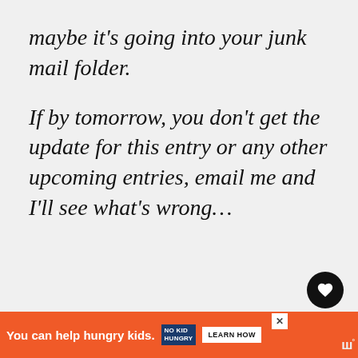maybe it's going into your junk mail folder.
If by tomorrow, you don't get the update for this entry or any other upcoming entries, email me and I'll see what's wrong…
↩ REPLY
DIVINA
March 1, 2010 at 12:58 am
[Figure (screenshot): Advertisement bar: orange background with 'You can help hungry kids.' text, No Kid Hungry logo, and LEARN HOW button]
M… …'re